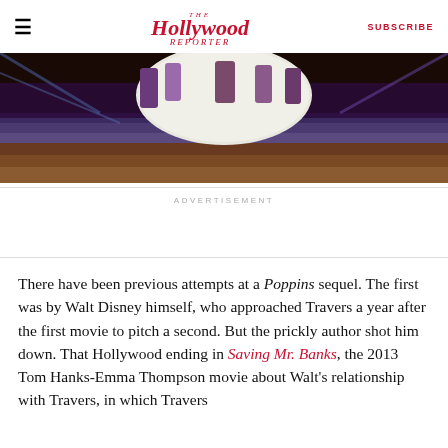The Hollywood Reporter | SUBSCRIBE
[Figure (photo): Stage show scene with performers dancing in front of large circular backdrop with colorful lighting]
ADVERTISEMENT
There have been previous attempts at a Poppins sequel. The first was by Walt Disney himself, who approached Travers a year after the first movie to pitch a second. But the prickly author shot him down. That Hollywood ending in Saving Mr. Banks, the 2013 Tom Hanks-Emma Thompson movie about Walt's relationship with Travers, in which Travers